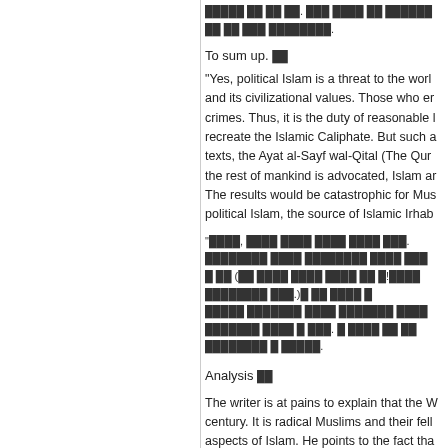Korean text (top)
To sum up. 요약
"Yes, political Islam is a threat to the world and its civilizational values. Those who en crimes. Thus, it is the duty of reasonable l recreate the Islamic Caliphate. But such a texts, the Ayat al-Sayf wal-Qital (The Qur the rest of mankind is advocated, Islam a The results would be catastrophic for Mus political Islam, the source of Islamic Irhab
Korean quoted paragraph
Analysis 분석
The writer is at pains to explain that the W century. It is radical Muslims and their fell aspects of Islam. He points to the fact tha opportunity to earn a decent livelihood. If Islam, in other words, "Islamophobia." He